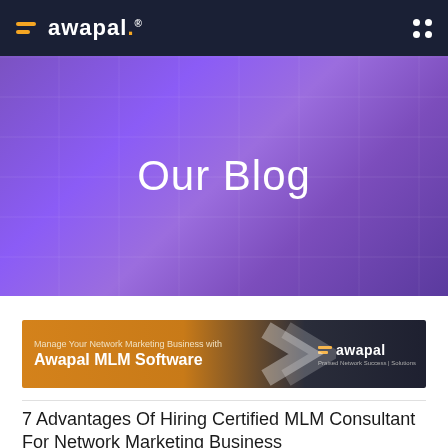awapal® [logo with grid icon]
[Figure (illustration): Purple gradient hero banner with 'Our Blog' title text in white]
[Figure (illustration): Awapal MLM Software advertisement banner: orange and dark background with chevron graphic, text 'Manage Your Network Marketing Business with Awapal MLM Software' and Awapal logo on right]
7 Advantages Of Hiring Certified MLM Consultant For Network Marketing Business